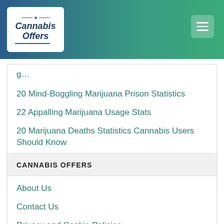Cannabis Offers
20 Mind-Boggling Marijuana Prison Statistics
22 Appalling Marijuana Usage Stats
20 Marijuana Deaths Statistics Cannabis Users Should Know
25+ Eye-Opening Beauty Industry Statistics to Think About
CANNABIS OFFERS
About Us
Contact Us
Privacy and Cookie Policies